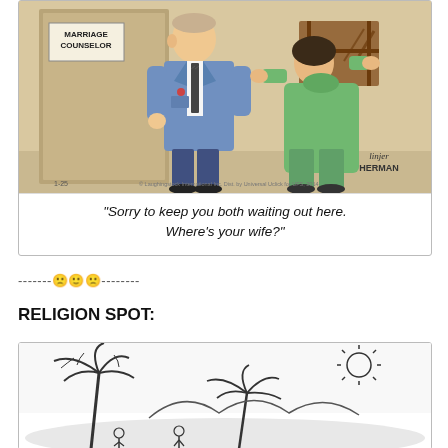[Figure (illustration): Herman comic strip showing a Marriage Counselor's office door. A man in a blue suit stands at the door. A woman in green carries a broken chair. Sign on door reads 'MARRIAGE COUNSELOR'. Signed by the artist 'Herman', dated 1-25.]
“Sorry to keep you both waiting out here. Where’s your wife?”
-------☹️☺️☹️--------
RELIGION SPOT:
[Figure (illustration): Black and white cartoon drawing of a desert scene with palm trees, hills, a sun, and small figures at the bottom.]